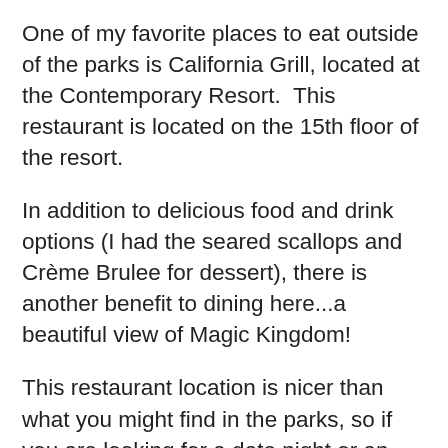One of my favorite places to eat outside of the parks is California Grill, located at the Contemporary Resort.  This restaurant is located on the 15th floor of the resort.
In addition to delicious food and drink options (I had the seared scallops and Crème Brulee for dessert), there is another benefit to dining here...a beautiful view of Magic Kingdom!
This restaurant location is nicer than what you might find in the parks, so if you are looking for a date night or an opportunity to dress up a little bit in Disney, this is a top pick!
I love the sense of nostalgia when visiting California Grill.  While the restaurant has certainly undergone changes and refurbishments, as you sip your cucumber